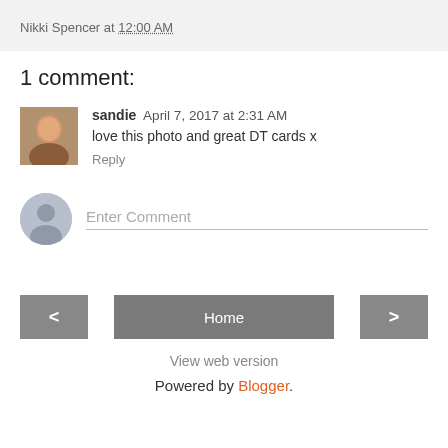Nikki Spencer at 12:00 AM
1 comment:
sandie  April 7, 2017 at 2:31 AM
love this photo and great DT cards x
Reply
Enter Comment
< Home > View web version Powered by Blogger.